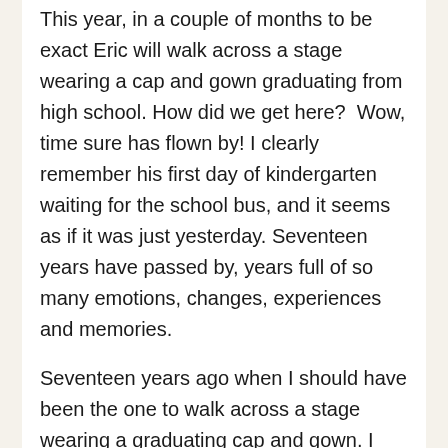This year, in a couple of months to be exact Eric will walk across a stage wearing a cap and gown graduating from high school. How did we get here?  Wow, time sure has flown by! I clearly remember his first day of kindergarten waiting for the school bus, and it seems as if it was just yesterday. Seventeen years have passed by, years full of so many emotions, changes, experiences and memories.
Seventeen years ago when I should have been the one to walk across a stage wearing a graduating cap and gown. I instead was wearing a hospital gown on my way to the most important role of my life “motherhood”. I was scared, nervous, happy, and very young. Eric was born on a sunny, warm Tuesday afternoon on May of 2000. After having an easy very healthy, pregnancy at seventeen I was to finally hold his